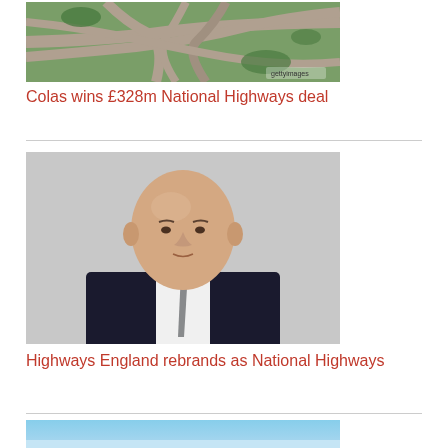[Figure (photo): Aerial view of motorway interchange with multiple lanes and green surroundings]
Colas wins £328m National Highways deal
[Figure (photo): Professional headshot of a middle-aged bald man in a dark suit with a grey tie, against a light grey background]
Highways England rebrands as National Highways
[Figure (photo): Blue sky with light gradient, partial view of image]